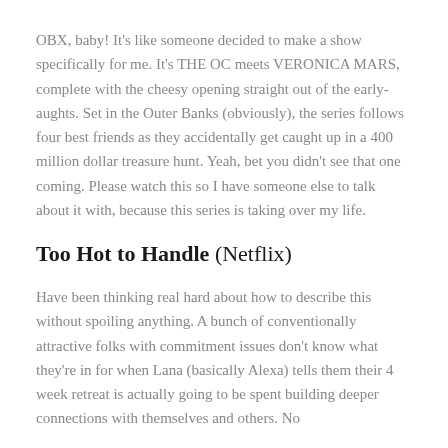OBX, baby! It's like someone decided to make a show specifically for me. It's THE OC meets VERONICA MARS, complete with the cheesy opening straight out of the early-aughts. Set in the Outer Banks (obviously), the series follows four best friends as they accidentally get caught up in a 400 million dollar treasure hunt. Yeah, bet you didn't see that one coming. Please watch this so I have someone else to talk about it with, because this series is taking over my life.
Too Hot to Handle (Netflix)
Have been thinking real hard about how to describe this without spoiling anything. A bunch of conventionally attractive folks with commitment issues don't know what they're in for when Lana (basically Alexa) tells them their 4 week retreat is actually going to be spent building deeper connections with themselves and others. No